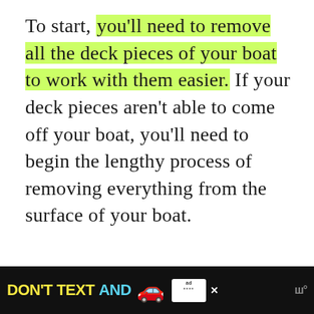To start, you'll need to remove all the deck pieces of your boat to work with them easier. If your deck pieces aren't able to come off your boat, you'll need to begin the lengthy process of removing everything from the surface of your boat.
ADVERTISEMENT
[Figure (other): Bottom advertisement banner: 'DON'T TEXT AND' with car emoji and NHTSA ad badge on black background]